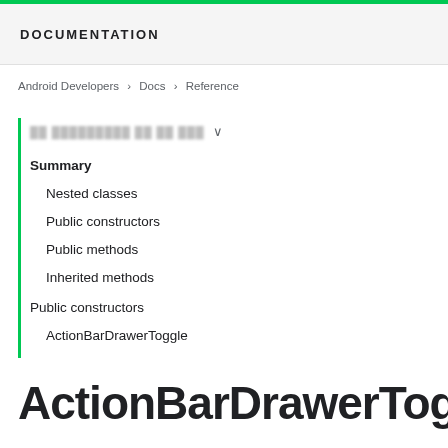DOCUMENTATION
Android Developers > Docs > Reference
Summary
Nested classes
Public constructors
Public methods
Inherited methods
Public constructors
ActionBarDrawerToggle
ActionBarDrawerToggle
...
ActionBarDrawerToggle